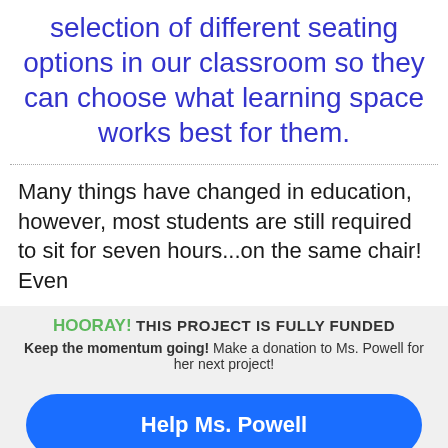selection of different seating options in our classroom so they can choose what learning space works best for them.
Many things have changed in education, however, most students are still required to sit for seven hours...on the same chair! Even
HOORAY! THIS PROJECT IS FULLY FUNDED
Keep the momentum going! Make a donation to Ms. Powell for her next project!
Help Ms. Powell